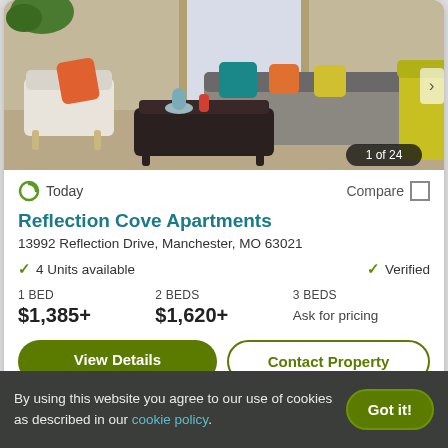[Figure (photo): Interior photo of an apartment living room with a white chair with orange pillow, dark coffee table, gray sofa with teal and yellow pillows, and a yellow chair on the right. Badge reads '1 of 24'.]
Today
Compare
Reflection Cove Apartments
13992 Reflection Drive, Manchester, MO 63021
4 Units available
Verified
1 BED
$1,385+
2 BEDS
$1,620+
3 BEDS
Ask for pricing
View Details
Contact Property
By using this website you agree to our use of cookies as described in our cookie policy.
Got it!